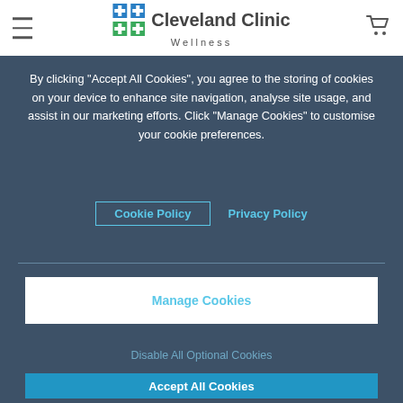[Figure (logo): Cleveland Clinic Wellness header with hamburger menu, logo, and cart icon]
By clicking “Accept All Cookies”, you agree to the storing of cookies on your device to enhance site navigation, analyse site usage, and assist in our marketing efforts. Click “Manage Cookies” to customise your cookie preferences.
Cookie Policy   Privacy Policy
Manage Cookies
Disable All Optional Cookies
Accept All Cookies